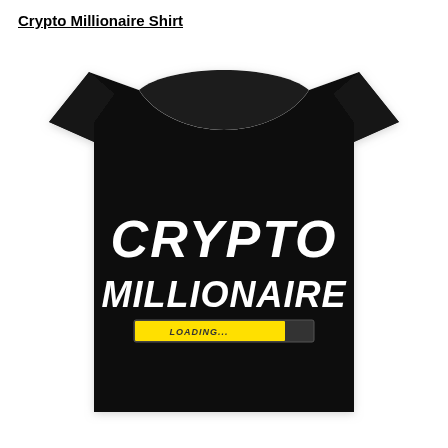Crypto Millionaire Shirt
[Figure (photo): A black t-shirt with white bold text reading CRYPTO MILLIONAIRE and a yellow loading bar graphic underneath with the text LOADING...]